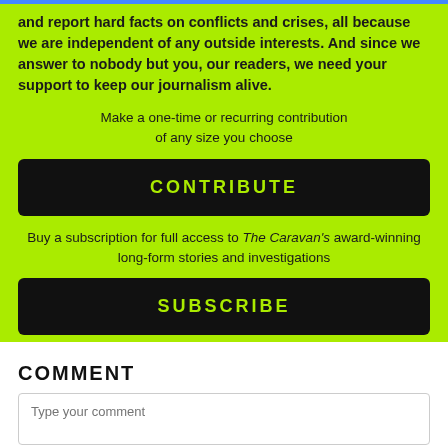and report hard facts on conflicts and crises, all because we are independent of any outside interests. And since we answer to nobody but you, our readers, we need your support to keep our journalism alive.
Make a one-time or recurring contribution of any size you choose
CONTRIBUTE
Buy a subscription for full access to The Caravan's award-winning long-form stories and investigations
SUBSCRIBE
COMMENT
Type your comment